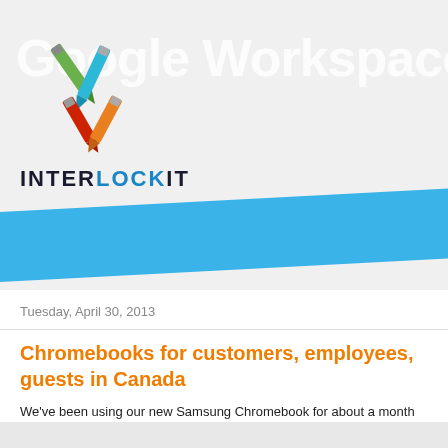[Figure (logo): Interlock IT logo with colored pencil/pen icons (green, blue, red, orange) and the text INTERLOCKIT in bold dark blue letters]
Google Workspace and...
Tuesday, April 30, 2013
Chromebooks for customers, employees, guests in Canada
We've been using our new Samsung Chromebook for about a month